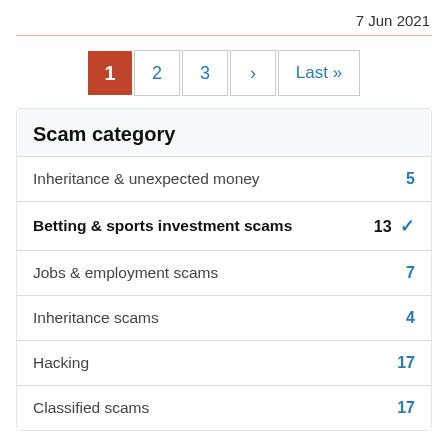7 Jun 2021
1 2 3 › Last »
| Scam category |  |
| --- | --- |
| Inheritance & unexpected money | 5 |
| Betting & sports investment scams | 13 ✓ |
| Jobs & employment scams | 7 |
| Inheritance scams | 4 |
| Hacking | 17 |
| Classified scams | 17 |